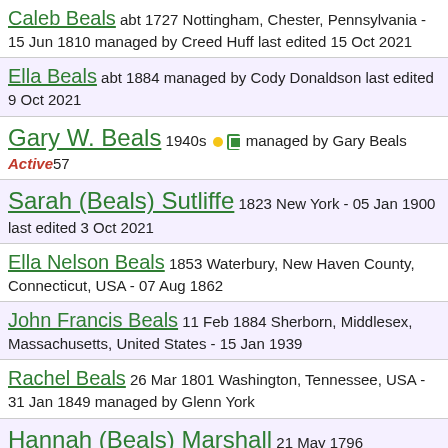Caleb Beals abt 1727 Nottingham, Chester, Pennsylvania - 15 Jun 1810 managed by Creed Huff last edited 15 Oct 2021
Ella Beals abt 1884 managed by Cody Donaldson last edited 9 Oct 2021
Gary W. Beals 1940s managed by Gary Beals Active 57
Sarah (Beals) Sutliffe 1823 New York - 05 Jan 1900 last edited 3 Oct 2021
Ella Nelson Beals 1853 Waterbury, New Haven County, Connecticut, USA - 07 Aug 1862
John Francis Beals 11 Feb 1884 Sherborn, Middlesex, Massachusetts, United States - 15 Jan 1939
Rachel Beals 26 Mar 1801 Washington, Tennessee, USA - 31 Jan 1849 managed by Glenn York
Hannah (Beals) Marshall 21 May 1796